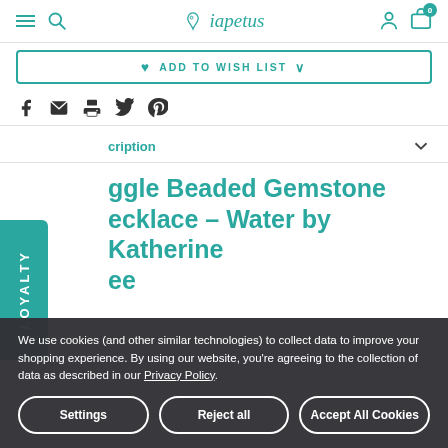iapetus — navigation bar with hamburger menu, search, logo, account and cart icons
ADD TO WISH LIST
[Figure (other): Social sharing icons: Facebook, email, print, Twitter, Pinterest]
Description
Toggle Beaded Gemstone Necklace - Water by Katherine Lee
We use cookies (and other similar technologies) to collect data to improve your shopping experience. By using our website, you're agreeing to the collection of data as described in our Privacy Policy.
Settings    Reject all    Accept All Cookies